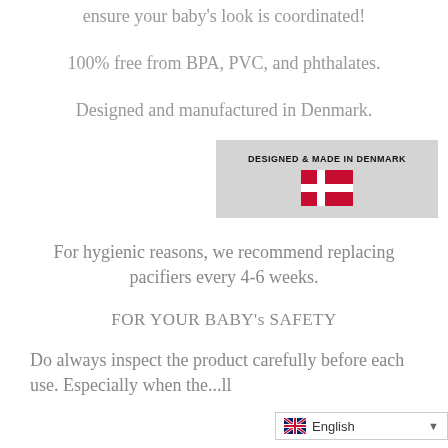ensure your baby's look is coordinated!
100% free from BPA, PVC, and phthalates.
Designed and manufactured in Denmark.
[Figure (logo): Badge reading 'DESIGNED & MADE IN DENMARK' with a Danish flag icon on a light grey background]
For hygienic reasons, we recommend replacing pacifiers every 4-6 weeks.
FOR YOUR BABY's SAFETY
Do always inspect the product carefully before each use. Especially when th...ll